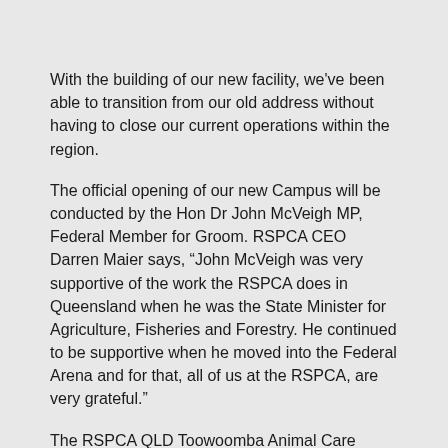With the building of our new facility, we've been able to transition from our old address without having to close our current operations within the region.
The official opening of our new Campus will be conducted by the Hon Dr John McVeigh MP, Federal Member for Groom. RSPCA CEO Darren Maier says, “John McVeigh was very supportive of the work the RSPCA does in Queensland when he was the State Minister for Agriculture, Fisheries and Forestry. He continued to be supportive when he moved into the Federal Arena and for that, all of us at the RSPCA, are very grateful.”
The RSPCA QLD Toowoomba Animal Care Centre was built thanks to the generosity of the community and the following donors:-
Australian Government – Building Better Regions Fund
The Jelley Family Foundation